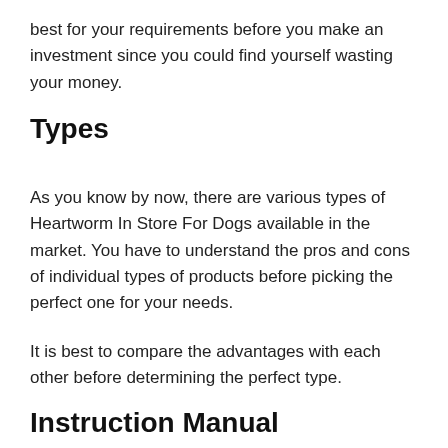best for your requirements before you make an investment since you could find yourself wasting your money.
Types
As you know by now, there are various types of Heartworm In Store For Dogs available in the market. You have to understand the pros and cons of individual types of products before picking the perfect one for your needs.
It is best to compare the advantages with each other before determining the perfect type.
Instruction Manual